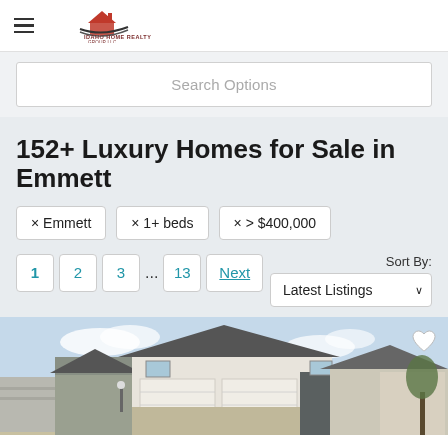[Figure (logo): Idaho Home Realty Group LLC logo with house icon and swoosh design]
Search Options
152+ Luxury Homes for Sale in Emmett
× Emmett
× 1+ beds
× > $400,000
Sort By:
1  2  3  ...  13  Next
Latest Listings
[Figure (photo): Exterior photo of a new construction luxury home in Emmett, showing a craftsman-style house with two-car garage, stone accents, and blue sky background]